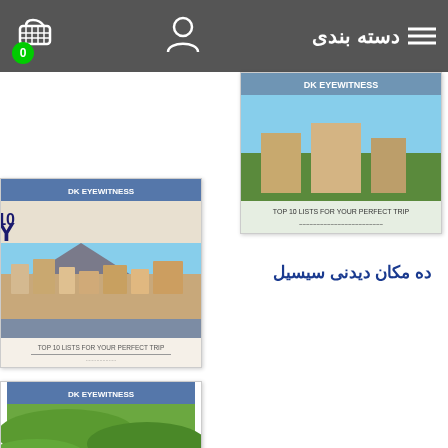دسته بندی
[Figure (photo): Partial travel book cover at top right]
ده مکان دیدنی سیسیل
[Figure (photo): TOP 10 SICILY travel guide book cover with photo of Sicilian cityscape and volcano]
سفرهای جاده ای اسپانیا
[Figure (photo): ROAD TRIPS SPAIN travel guide book cover with aerial vineyard photo]